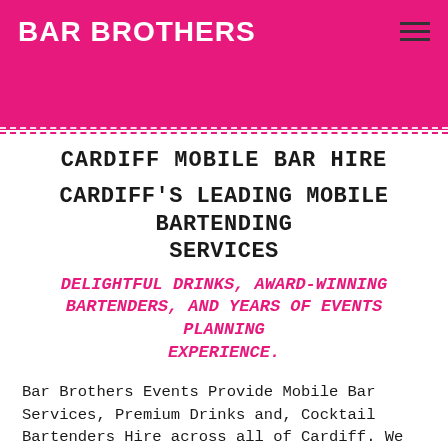BAR BROTHERS
CARDIFF MOBILE BAR HIRE
CARDIFF'S LEADING MOBILE BARTENDING SERVICES
DELIGHTFUL DRINKS, AWARD-WINNING BARTENDERS, AND YEARS OF EVENTS PLANNING EXPERIENCE.
Bar Brothers Events Provide Mobile Bar Services, Premium Drinks and, Cocktail Bartenders Hire across all of Cardiff. We plan and deliver a very high number of events across Cardiff every year and work both with private clients and large corporate companies to provide a first class Cardiff Bar Hire and drink